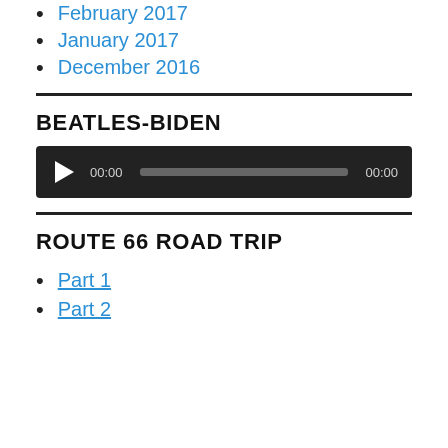February 2017
January 2017
December 2016
BEATLES-BIDEN
[Figure (other): Audio player widget showing play button, time 00:00, progress bar, and duration 00:00 on dark background]
ROUTE 66 ROAD TRIP
Part 1
Part 2